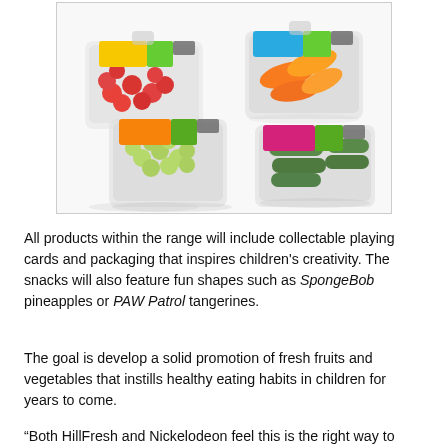[Figure (photo): Four clear plastic clamshell containers of fresh produce: cherry tomatoes (top left), orange/yellow peppers (top right), green grapes (bottom left), and green mini cucumbers (bottom right), each with colorful branded labels.]
All products within the range will include collectable playing cards and packaging that inspires children's creativity. The snacks will also feature fun shapes such as SpongeBob pineapples or PAW Patrol tangerines.
The goal is develop a solid promotion of fresh fruits and vegetables that instills healthy eating habits in children for years to come.
“Both HillFresh and Nickelodeon feel this is the right way to